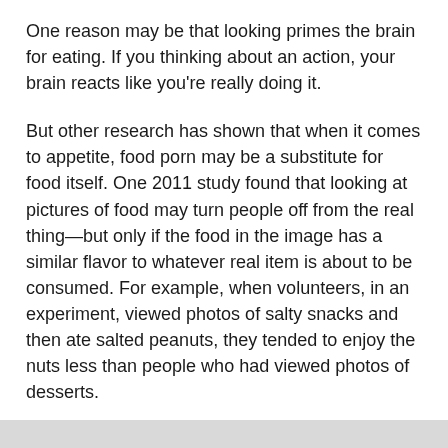One reason may be that looking primes the brain for eating. If you thinking about an action, your brain reacts like you're really doing it.
But other research has shown that when it comes to appetite, food porn may be a substitute for food itself. One 2011 study found that looking at pictures of food may turn people off from the real thing—but only if the food in the image has a similar flavor to whatever real item is about to be consumed. For example, when volunteers, in an experiment, viewed photos of salty snacks and then ate salted peanuts, they tended to enjoy the nuts less than people who had viewed photos of desserts.
According to other studies, however, when the brain knows that the stomach is full, a picture of food loses all its interest.